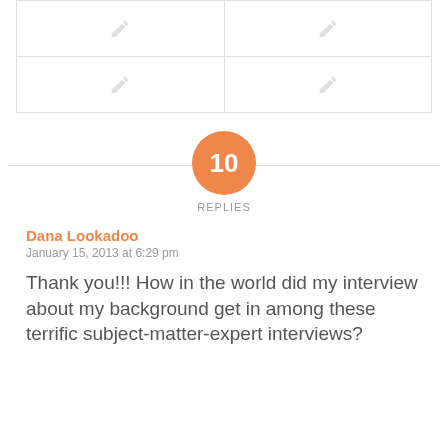[Figure (other): 2x2 grid of image placeholder cells with pencil icons]
[Figure (infographic): Orange circle with number 10 and REPLIES label, centered with horizontal line]
Dana Lookadoo
January 15, 2013 at 6:29 pm
Thank you!!! How in the world did my interview about my background get in among these terrific subject-matter-expert interviews?